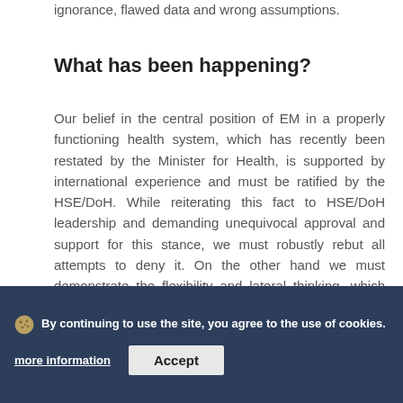ignorance, flawed data and wrong assumptions.
What has been happening?
Our belief in the central position of EM in a properly functioning health system, which has recently been restated by the Minister for Health, is supported by international experience and must be ratified by the HSE/DoH. While reiterating this fact to HSE/DoH leadership and demanding unequivocal approval and support for this stance, we must robustly rebut all attempts to deny it. On the other hand we must demonstrate the flexibility and lateral thinking, which characterises much of our clinical work, in offering solutions to the problems facing the wider health system.
Meeting between Dr. Barry White; Prof. Ronan O'Sullivan and
A proposal to increase the starting Consultant in EM salary by €20K contingent on the specialty agreeing to working until